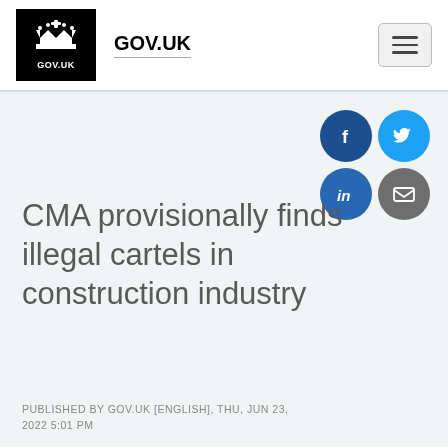[Figure (logo): GOV.UK logo with crown icon in black box, followed by GOV.UK text label and hamburger menu button]
CMA provisionally finds illegal cartels in construction industry
PUBLISHED BY GOV.UK [ENGLISH], THU, JUN 23, 2022 5:01 PM